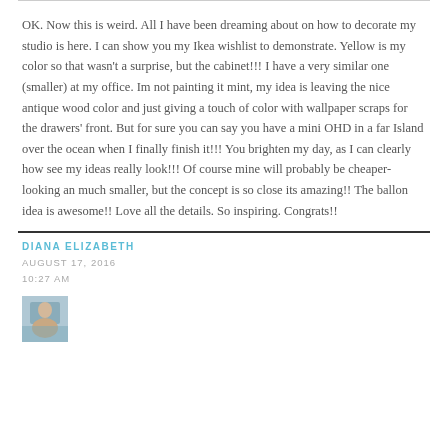OK. Now this is weird. All I have been dreaming about on how to decorate my studio is here. I can show you my Ikea wishlist to demonstrate. Yellow is my color so that wasn't a surprise, but the cabinet!!! I have a very similar one (smaller) at my office. Im not painting it mint, my idea is leaving the nice antique wood color and just giving a touch of color with wallpaper scraps for the drawers' front. But for sure you can say you have a mini OHD in a far Island over the ocean when I finally finish it!!! You brighten my day, as I can clearly how see my ideas really look!!! Of course mine will probably be cheaper-looking an much smaller, but the concept is so close its amazing!! The ballon idea is awesome!! Love all the details. So inspiring. Congrats!!
DIANA ELIZABETH
AUGUST 17, 2016
10:27 AM
[Figure (photo): Small avatar/thumbnail photo of a person]